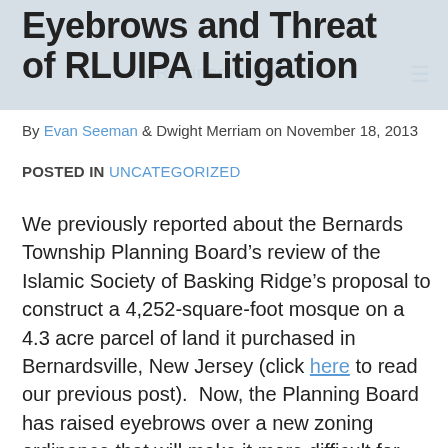Robinson+Cole
Eyebrows and Threat of RLUIPA Litigation
By Evan Seeman & Dwight Merriam on November 18, 2013
POSTED IN UNCATEGORIZED
We previously reported about the Bernards Township Planning Board’s review of the Islamic Society of Basking Ridge’s proposal to construct a 4,252-square-foot mosque on a 4.3 acre parcel of land it purchased in Bernardsville, New Jersey (click here to read our previous post). Now, the Planning Board has raised eyebrows over a new zoning ordinance that will make it more difficult for institutional uses, including religious uses, to locate. The new ordinance would toughen bulk requirements for religious land uses as follows: